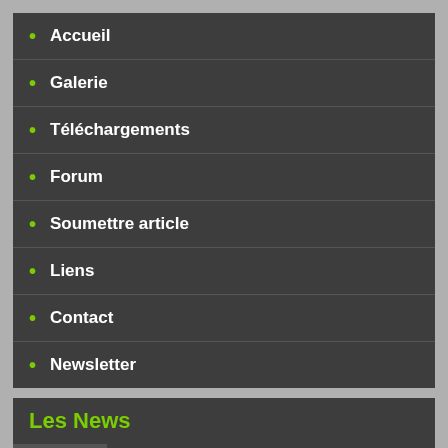Accueil
Galerie
Téléchargements
Forum
Soumettre article
Liens
Contact
Newsletter
Les News
Récentes  Populaires  Commentées